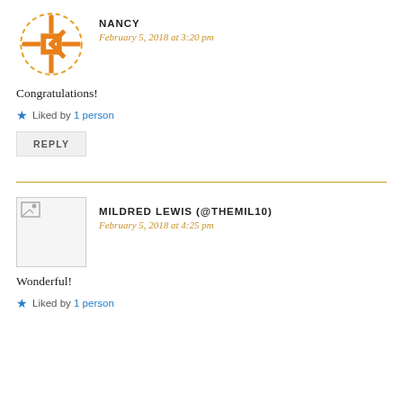[Figure (logo): Orange decorative snowflake/asterisk avatar icon for user Nancy]
NANCY
February 5, 2018 at 3:20 pm
Congratulations!
Liked by 1 person
REPLY
[Figure (photo): Small broken image placeholder for user Mildred Lewis]
MILDRED LEWIS (@THEMIL10)
February 5, 2018 at 4:25 pm
Wonderful!
Liked by 1 person